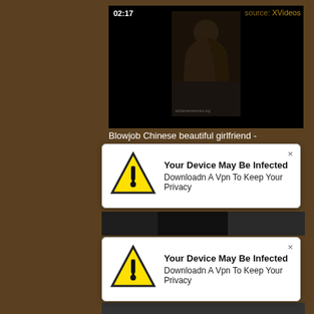[Figure (screenshot): Screenshot of an adult video website showing a video player with timestamp 02:17 and source label 'source: XVideos', with a dark video thumbnail, and two overlapping popup notifications reading 'Your Device May Be Infected - Downloadn A Vpn To Keep Your Privacy' with warning triangle icons.]
Blowjob Chinese beautiful girlfriend -
Your Device May Be Infected
Downloadn A Vpn To Keep Your Privacy
Your Device May Be Infected
Downloadn A Vpn To Keep Your Privacy